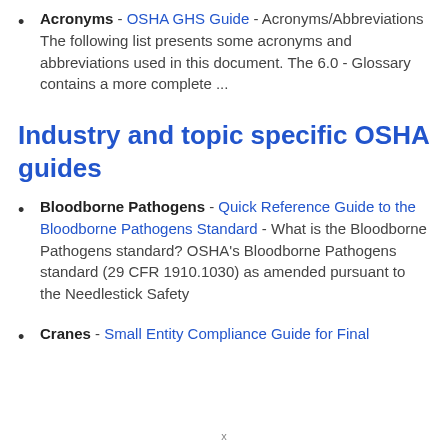Acronyms - OSHA GHS Guide - Acronyms/Abbreviations The following list presents some acronyms and abbreviations used in this document. The 6.0 - Glossary contains a more complete ...
Industry and topic specific OSHA guides
Bloodborne Pathogens - Quick Reference Guide to the Bloodborne Pathogens Standard - What is the Bloodborne Pathogens standard? OSHA's Bloodborne Pathogens standard (29 CFR 1910.1030) as amended pursuant to the Needlestick Safety
Cranes - Small Entity Compliance Guide for Final
x